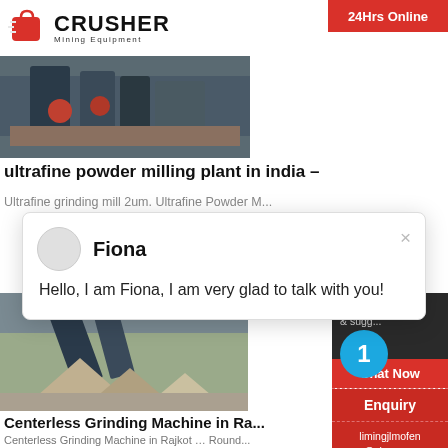[Figure (logo): Crusher Mining Equipment logo with red shopping bag icon and bold CRUSHER text]
[Figure (photo): Industrial milling/crusher equipment in a factory setting]
ultrafine powder milling plant in india –
Ultrafine grinding mill 2um. Ultrafine Powder M...
[Figure (screenshot): Chat popup with Fiona avatar saying: Hello, I am Fiona, I am very glad to talk with you!]
[Figure (photo): Crushing/grinding machine with gravel piles in an industrial setting]
Centerless Grinding Machine in Ra...
Centerless Grinding Machine in Rajkot ... Round... Cylindricity:2um, ... Vishal Machineries Manufac... Exports all type Ultrafine Grinding Machine in ...